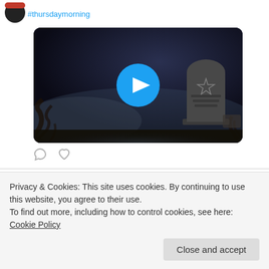#thursdaymorning
[Figure (screenshot): Dark video thumbnail showing a gravestone with a pentagram in a misty graveyard scene, with a blue play button in the center]
[Figure (other): Comment and heart/like icons below the video]
ScaredyBird @scaredybirdblog · Jan 27
Privacy & Cookies: This site uses cookies. By continuing to use this website, you agree to their use.
To find out more, including how to control cookies, see here: Cookie Policy
Close and accept